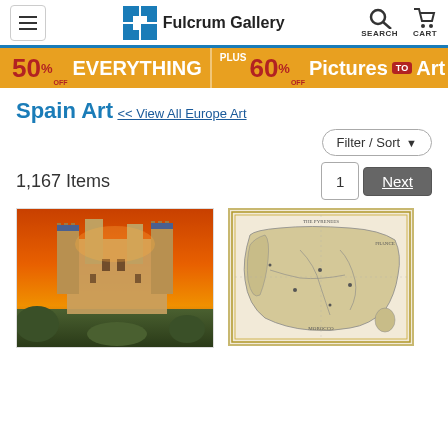Fulcrum Gallery — Navigation header with hamburger menu, logo, search and cart icons
[Figure (infographic): Promotional banner: 50% OFF EVERYTHING | PLUS 60% OFF Pictures TO Art]
Spain Art
<< View All Europe Art
Filter / Sort
1,167 Items
1  Next
[Figure (photo): Photo of Alcazar castle in Segovia Spain with dramatic orange sunset sky]
[Figure (map): Vintage antique map of Spain and Portugal with geographic details]